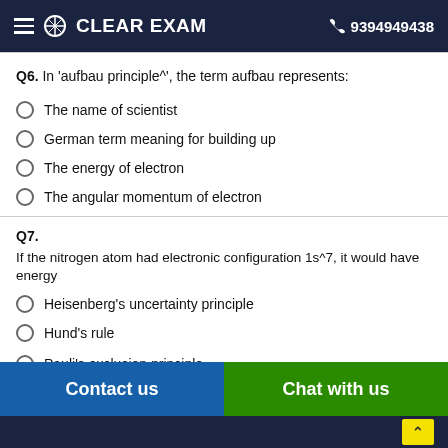CLEAR EXAM | 9394949438
Q6. In 'aufbau principle^', the term aufbau represents:
The name of scientist
German term meaning for building up
The energy of electron
The angular momentum of electron
Q7. If the nitrogen atom had electronic configuration 1s^7, it would have energy
Heisenberg's uncertainty principle
Hund's rule
Pauli's exclusion principle
Contact us | Chat with us